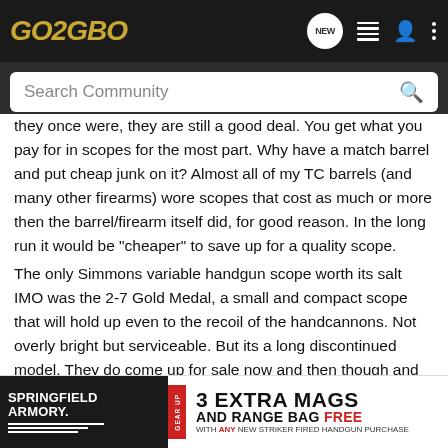GO2GBO
they once were, they are still a good deal. You get what you pay for in scopes for the most part. Why have a match barrel and put cheap junk on it? Almost all of my TC barrels (and many other firearms) wore scopes that cost as much or more then the barrel/firearm itself did, for good reason. In the long run it would be "cheaper" to save up for a quality scope.
The only Simmons variable handgun scope worth its salt IMO was the 2-7 Gold Medal, a small and compact scope that will hold up even to the recoil of the handcannons. Not overly bright but serviceable. But its a long discontinued model. They do come up for sale now and then though and are usually quite reasonably priced. I sold a bunch of them a few years ago for something like $100-$150 and some that were still in the box for a
[Figure (infographic): Springfield Armory Gear Up advertisement banner: 3 Extra Mags and Range Bag Free with any new striker fired handgun purchase]